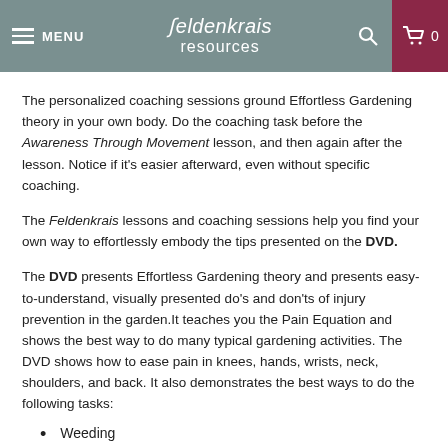MENU | Feldenkrais resources | 0
The personalized coaching sessions ground Effortless Gardening theory in your own body. Do the coaching task before the Awareness Through Movement lesson, and then again after the lesson. Notice if it's easier afterward, even without specific coaching.
The Feldenkrais lessons and coaching sessions help you find your own way to effortlessly embody the tips presented on the DVD.
The DVD presents Effortless Gardening theory and presents easy-to-understand, visually presented do's and don'ts of injury prevention in the garden.It teaches you the Pain Equation and shows the best way to do many typical gardening activities. The DVD shows how to ease pain in knees, hands, wrists, neck, shoulders, and back. It also demonstrates the best ways to do the following tasks:
Weeding